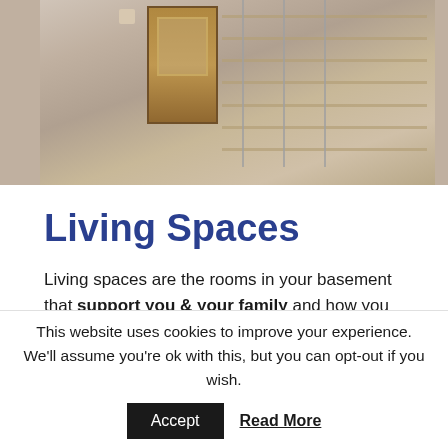[Figure (photo): Interior photo of a home showing a wooden door, staircase with glass/metal railings, and gray walls]
Living Spaces
Living spaces are the rooms in your basement that support you & your family and how you use your home and not just rooms to gather and hang out in.
Here are a few basement ideas for living spaces:
This website uses cookies to improve your experience. We'll assume you're ok with this, but you can opt-out if you wish. Accept Read More